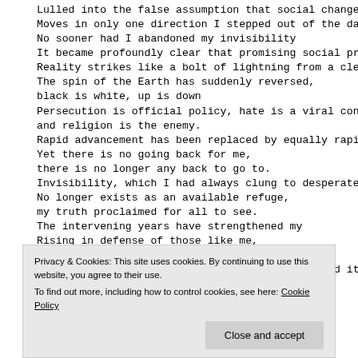Lulled into the false assumption that social change
Moves in only one direction I stepped out of the darkne
No sooner had I abandoned my invisibility
It became profoundly clear that promising social progre
Reality strikes like a bolt of lightning from a clear b
The spin of the Earth has suddenly reversed,
black is white, up is down
Persecution is official policy, hate is a viral contagi
and religion is the enemy.
Rapid advancement has been replaced by equally rapid re
Yet there is no going back for me,
there is no longer any back to go to.
Invisibility, which I had always clung to desperately
No longer exists as an available refuge,
my truth proclaimed for all to see.
The intervening years have strengthened my
Rising in defense of those like me,
for only together will we survive.
Tf ... i ... i ... th ... t f ... i i ... ilit ... d it
Privacy & Cookies: This site uses cookies. By continuing to use this website, you agree to their use.
To find out more, including how to control cookies, see here: Cookie Policy
Close and accept